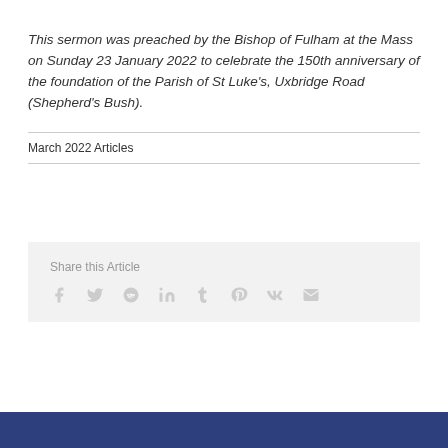This sermon was preached by the Bishop of Fulham at the Mass on Sunday 23 January 2022 to celebrate the 150th anniversary of the foundation of the Parish of St Luke's, Uxbridge Road (Shepherd's Bush).
March 2022 Articles
Share this Article
[Figure (infographic): Share icons row: Facebook, Twitter, Reddit, LinkedIn, Tumblr, Pinterest, VK, Email]